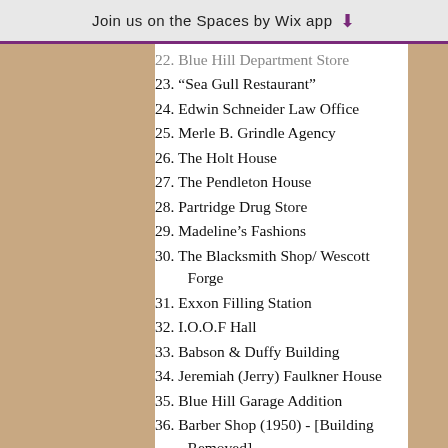Join us on the Spaces by Wix app
22. Blue Hill Department Store
23. "Sea Gull Restaurant"
24. Edwin Schneider Law Office
25. Merle B. Grindle Agency
26. The Holt House
27. The Pendleton House
28. Partridge Drug Store
29. Madeline's Fashions
30. The Blacksmith Shop/ Wescott Forge
31. Exxon Filling Station
32. I.O.O.F Hall
33. Babson & Duffy Building
34. Jeremiah (Jerry) Faulkner House
35. Blue Hill Garage Addition
36. Barber Shop (1950) - [Building Removed]
Edward Harriet H...